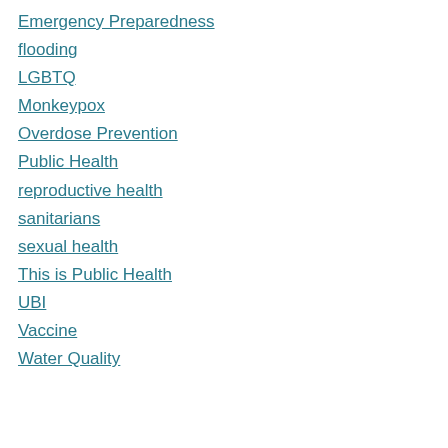Emergency Preparedness
flooding
LGBTQ
Monkeypox
Overdose Prevention
Public Health
reproductive health
sanitarians
sexual health
This is Public Health
UBI
Vaccine
Water Quality